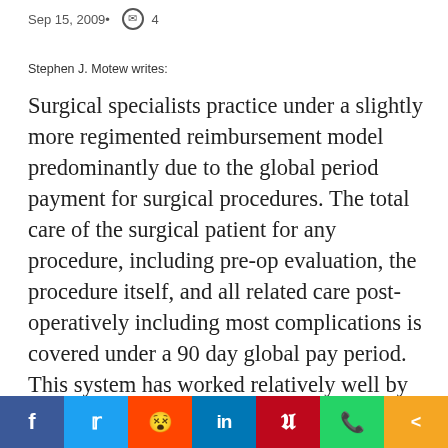Sep 15, 2009•  4
Stephen J. Motew writes:
Surgical specialists practice under a slightly more regimented reimbursement model predominantly due to the global period payment for surgical procedures. The total care of the surgical patient for any procedure, including pre-op evaluation, the procedure itself, and all related care post-operatively including most complications is covered under a 90 day global pay period. This system has worked relatively well by containing costs to a specific 'disease' (or procedure) state. In addition, many surgical sub-specialties such as vascular surgery and oncologic surgery for example invest a large amount